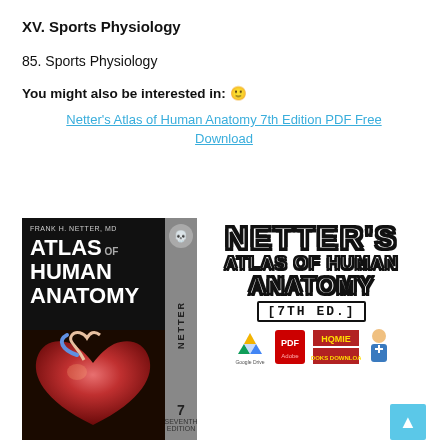XV. Sports Physiology
85. Sports Physiology
You might also be interested in: 🙂
Netter's Atlas of Human Anatomy 7th Edition PDF Free Download
[Figure (photo): Book cover and promotional graphic for Netter's Atlas of Human Anatomy 7th Edition, showing book cover with anatomical heart image on left and stylized text graphic with download icons on right]